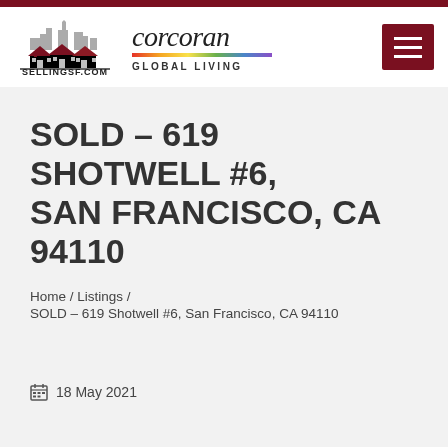[Figure (logo): SellingSF.com logo with city skyline and houses, and Corcoran Global Living logo with rainbow stripe]
SOLD – 619 SHOTWELL #6, SAN FRANCISCO, CA 94110
Home / Listings /
SOLD – 619 Shotwell #6, San Francisco, CA 94110
18 May 2021